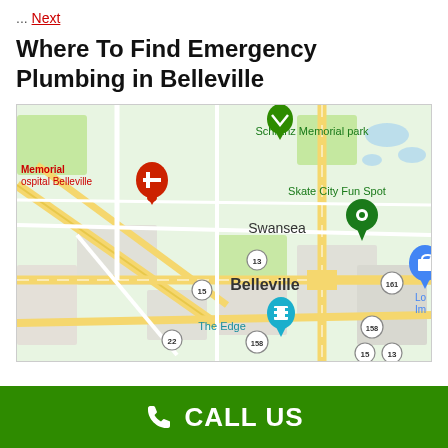... Next
Where To Find Emergency Plumbing in Belleville
[Figure (map): Google Maps view of Belleville, Illinois area showing landmarks: Memorial Hospital Belleville, Schranz Memorial park, Skate City Fun Spot, Swansea, The Edge, and route markers for roads 13, 15, 22, 158, 161.]
CALL US